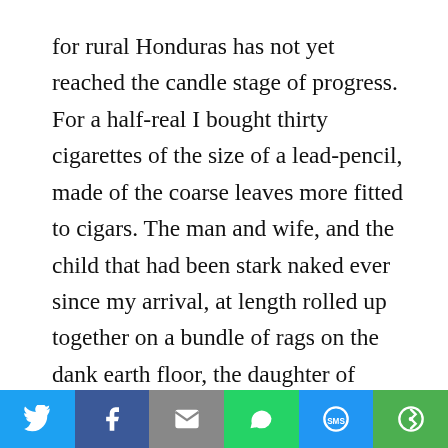for rural Honduras has not yet reached the candle stage of progress. For a half-real I bought thirty cigarettes of the size of a lead-pencil, made of the coarse leaves more fitted to cigars. The man and wife, and the child that had been stark naked ever since my arrival, at length rolled up together on a bundle of rags on the dank earth floor, the daughter of eighteen climbed a knotched stick into a cubbyhole under the roof, and when the pine splinter flickered out I was able for the first night in Honduras to get out of my knee-cramping breeches and into more comfortable sleeping garments. The festered heel gave me considerable annoyance. A bread and milk poultice would no doubt
[Figure (infographic): Social sharing bar with icons for Twitter, Facebook, Email, WhatsApp, SMS, and More (represented by circular icons on colored backgrounds)]